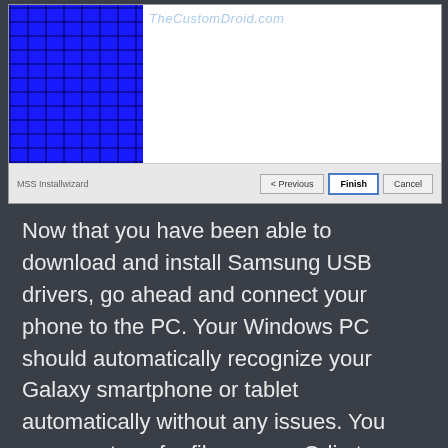[Figure (screenshot): Screenshot of a Windows installer wizard final screen (MSS Installwizard) showing a blue circuit/chip image on the left, white content area on the right with TheCustomDroid.com watermark, and a bottom bar with Previous, Finish (highlighted), and Cancel buttons.]
Now that you have been able to download and install Samsung USB drivers, go ahead and connect your phone to the PC. Your Windows PC should automatically recognize your Galaxy smartphone or tablet automatically without any issues. You can now transfer files or use Odin to flash the firmware.